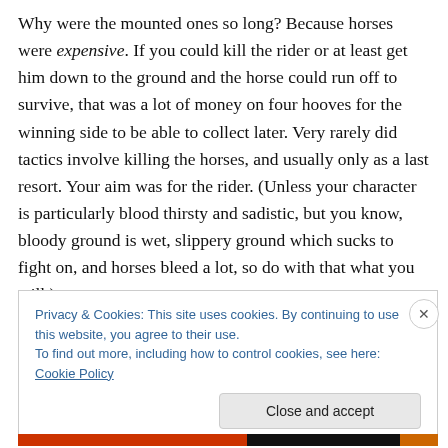Why were the mounted ones so long? Because horses were expensive. If you could kill the rider or at least get him down to the ground and the horse could run off to survive, that was a lot of money on four hooves for the winning side to be able to collect later. Very rarely did tactics involve killing the horses, and usually only as a last resort. Your aim was for the rider. (Unless your character is particularly blood thirsty and sadistic, but you know, bloody ground is wet, slippery ground which sucks to fight on, and horses bleed a lot, so do with that what you will.)
Privacy & Cookies: This site uses cookies. By continuing to use this website, you agree to their use. To find out more, including how to control cookies, see here: Cookie Policy